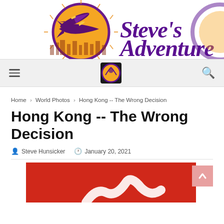[Figure (logo): Steve's Adventure travel blog banner logo with airplane and globe graphic, purple handwritten title text 'Steve's Adventure']
[Figure (logo): Navigation bar with hamburger menu icon, circular globe logo in center, and search icon on right]
Home > World Photos > Hong Kong -- The Wrong Decision
Hong Kong -- The Wrong Decision
Steve Hunsicker   January 20, 2021
[Figure (photo): Partial view of an article image showing a red background with a partial white graphic/logo element visible at the bottom of the page]